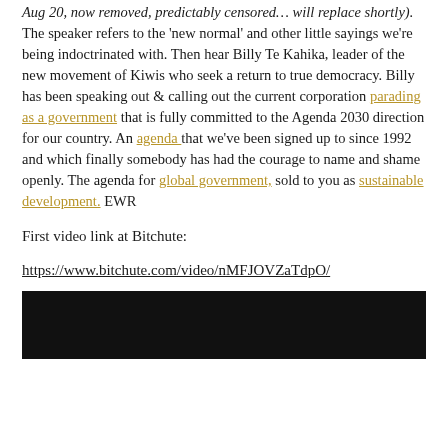Aug 20, now removed, predictably censored… will replace shortly). The speaker refers to the 'new normal' and other little sayings we're being indoctrinated with. Then hear Billy Te Kahika, leader of the new movement of Kiwis who seek a return to true democracy. Billy has been speaking out & calling out the current corporation parading as a government that is fully committed to the Agenda 2030 direction for our country. An agenda that we've been signed up to since 1992 and which finally somebody has had the courage to name and shame openly. The agenda for global government, sold to you as sustainable development. EWR
First video link at Bitchute:
https://www.bitchute.com/video/nMFJOVZaTdpO/
[Figure (screenshot): Black video thumbnail/embed area]